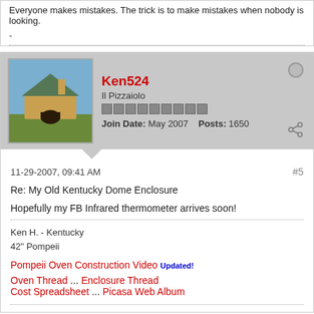Everyone makes mistakes. The trick is to make mistakes when nobody is looking.
-
Ken524
Il Pizzaiolo
Join Date: May 2007    Posts: 1650
11-29-2007, 09:41 AM
#5
Re: My Old Kentucky Dome Enclosure
Hopefully my FB Infrared thermometer arrives soon!
Ken H. - Kentucky
42" Pompeii
Pompeii Oven Construction Video Updated!
Oven Thread ... Enclosure Thread
Cost Spreadsheet ... Picasa Web Album